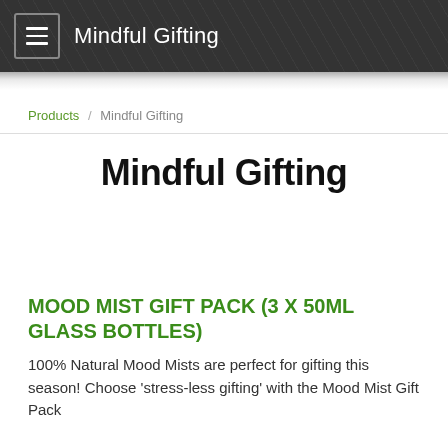Mindful Gifting
Products / Mindful Gifting
Mindful Gifting
MOOD MIST GIFT PACK (3 X 50ML GLASS BOTTLES)
100% Natural Mood Mists are perfect for gifting this season! Choose 'stress-less gifting' with the Mood Mist Gift Pack